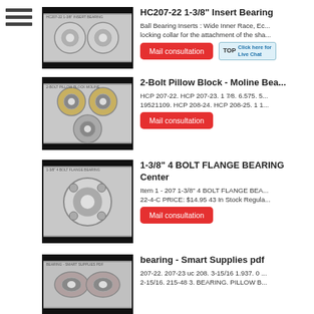[Figure (other): Hamburger menu icon with three horizontal bars]
[Figure (photo): Photo of insert bearing HC207-22]
HC207-22 1-3/8" Insert Bearing
Ball Bearing Inserts : Wide Inner Race, Ec... locking collar for the attachment of the sha...
Mail consultation
[Figure (photo): Photo of 2-Bolt Pillow Block Moline bearing]
2-Bolt Pillow Block - Moline Bea...
HCP 207-22. HCP 207-23. 1 7/8. 6.575. 5... 19521109. HCP 208-24. HCP 208-25. 1 1...
Mail consultation
[Figure (photo): Photo of 1-3/8" 4 Bolt Flange Bearing]
1-3/8" 4 BOLT FLANGE BEARING Center
Item 1 - 207 1-3/8" 4 BOLT FLANGE BEA... 22-4-C PRICE: $14.95 43 In Stock Regula...
Mail consultation
[Figure (photo): Photo of bearing from Smart Supplies pdf]
bearing - Smart Supplies pdf
207-22. 207-23 uc 208. 3-15/16 1.937. 0 ... 2-15/16. 215-48 3. BEARING. PILLOW B...